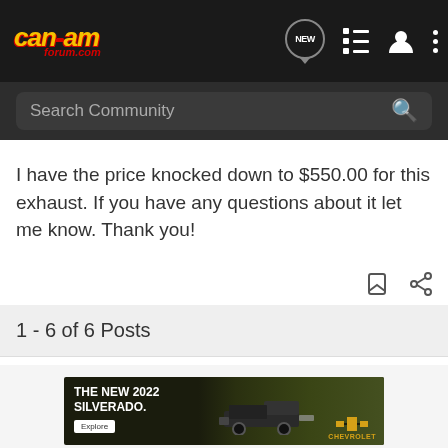[Figure (screenshot): Can-Am Forum navigation bar with logo, NEW chat icon, list icon, user icon, and dots menu]
[Figure (screenshot): Search Community search bar with magnifying glass icon]
I have the price knocked down to $550.00 for this exhaust. If you have any questions about it let me know. Thank you!
1 - 6 of 6 Posts
[Figure (photo): Chevrolet advertisement: THE NEW 2022 SILVERADO. Explore button and Chevrolet logo with truck image]